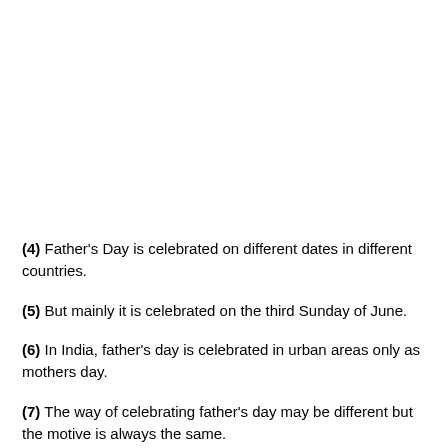(4) Father's Day is celebrated on different dates in different countries.
(5) But mainly it is celebrated on the third Sunday of June.
(6) In India, father's day is celebrated in urban areas only as mothers day.
(7) The way of celebrating father's day may be different but the motive is always the same.